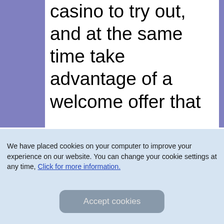casino to try out, and at the same time take advantage of a welcome offer that is worth it, Stakes is one of the best choices you can make. You will find daily bonuses, remarkable after-sales service and casino games the most popular.
We have placed cookies on your computer to improve your experience on our website. You can change your cookie settings at any time, Click for more information.
Accept cookies